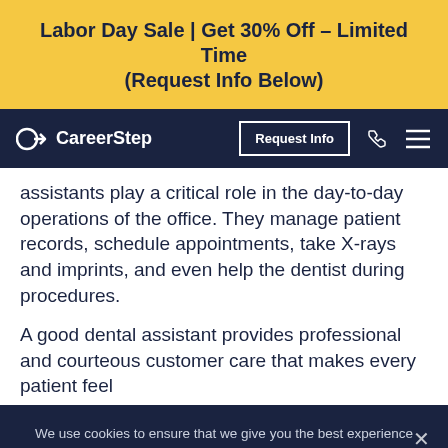Labor Day Sale | Get 30% Off – Limited Time (Request Info Below)
[Figure (screenshot): CareerStep website navigation bar with logo, Request Info button, phone icon, and hamburger menu icon on dark navy background]
assistants play a critical role in the day-to-day operations of the office. They manage patient records, schedule appointments, take X-rays and imprints, and even help the dentist during procedures.
A good dental assistant provides professional and courteous customer care that makes every patient feel
We use cookies to ensure that we give you the best experience on our website. If you continue to use this site we will assume that you are happy with it.
OK